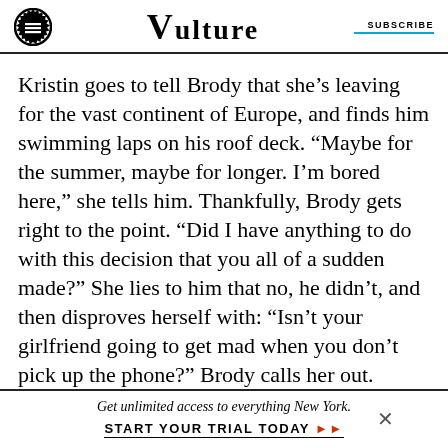VULTURE | SUBSCRIBE
Kristin goes to tell Brody that she’s leaving for the vast continent of Europe, and finds him swimming laps on his roof deck. “Maybe for the summer, maybe for longer. I’m bored here,” she tells him. Thankfully, Brody gets right to the point. “Did I have anything to do with this decision that you all of a sudden made?” She lies to him that no, he didn’t, and then disproves herself with: “Isn’t your girlfriend going to get mad when you don’t pick up the phone?” Brody calls her out. “Why do you sound so bitter when you say that?” She then invites him to
Get unlimited access to everything New York. START YOUR TRIAL TODAY »»